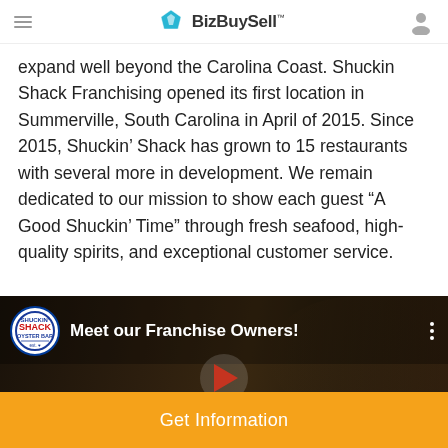BizBuySell
expand well beyond the Carolina Coast. Shuckin Shack Franchising opened its first location in Summerville, South Carolina in April of 2015. Since 2015, Shuckin’ Shack has grown to 15 restaurants with several more in development. We remain dedicated to our mission to show each guest “A Good Shuckin’ Time” through fresh seafood, high-quality spirits, and exceptional customer service.
[Figure (screenshot): YouTube video thumbnail with Shuckin Shack Oyster Bar channel logo and title 'Meet our Franchise Owners!']
Get Information